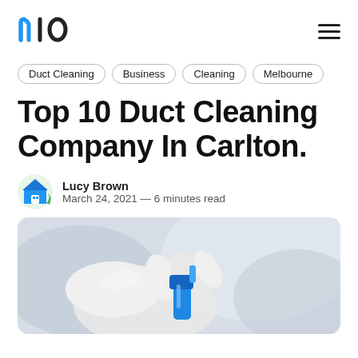n10 [logo]
Duct Cleaning
Business
Cleaning
Melbourne
Top 10 Duct Cleaning Company In Carlton.
Lucy Brown
March 24, 2021 — 6 minutes read
[Figure (photo): A gloved hand holding a blue cleaning spray bottle nozzle, blurred background, cleaning concept image.]